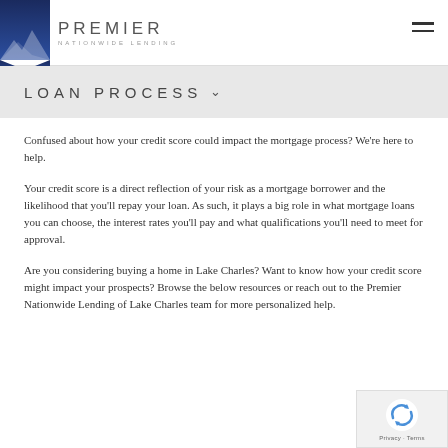PREMIER NATIONWIDE LENDING
LOAN PROCESS
Confused about how your credit score could impact the mortgage process? We're here to help.
Your credit score is a direct reflection of your risk as a mortgage borrower and the likelihood that you'll repay your loan. As such, it plays a big role in what mortgage loans you can choose, the interest rates you'll pay and what qualifications you'll need to meet for approval.
Are you considering buying a home in Lake Charles? Want to know how your credit score might impact your prospects? Browse the below resources or reach out to the Premier Nationwide Lending of Lake Charles team for more personalized help.
[Figure (logo): reCAPTCHA badge with Privacy and Terms links]